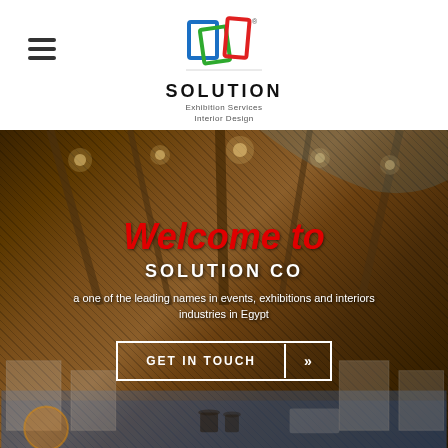[Figure (logo): Solution Co logo with colorful rectangular frames (blue, green, red) above the company name SOLUTION with tagline Exhibition Services Interior Design]
Welcome to
SOLUTION CO
a one of the leading names in events, exhibitions and interiors industries in Egypt
[Figure (photo): Trade show exhibition hall interior with large booth displays, overhead lighting, visitors browsing exhibition stands, warm amber/brown tones with blue accents at bottom]